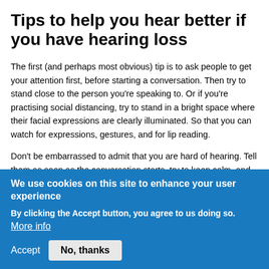Tips to help you hear better if you have hearing loss
The first (and perhaps most obvious) tip is to ask people to get your attention first, before starting a conversation. Then try to stand close to the person you’re speaking to. Or if you’re practising social distancing, try to stand in a bright space where their facial expressions are clearly illuminated. So that you can watch for expressions, gestures, and for lip reading.
Don’t be embarrassed to admit that you are hard of hearing. Tell them as soon as the conversation starts, try to keep calm, and don’t be afraid to ask the speaker to talk at
We use cookies on this site to enhance your user experience
By clicking the Accept button, you agree to us doing so. More info
Accept   No, thanks